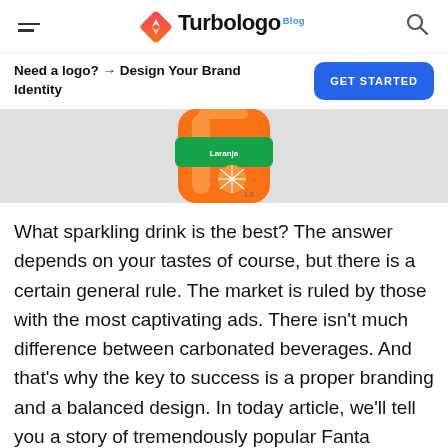Turbologo Blog
Need a logo? → Design Your Brand Identity
[Figure (photo): Partial view of an orange Fanta bottle on a light gray background, showing the orange label and orange fruit graphic]
What sparkling drink is the best? The answer depends on your tastes of course, but there is a certain general rule. The market is ruled by those with the most captivating ads. There isn't much difference between carbonated beverages. And that's why the key to success is a proper branding and a balanced design. In today article, we'll tell you a story of tremendously popular Fanta